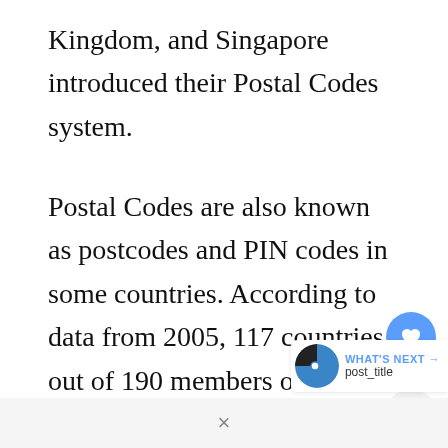Kingdom, and Singapore introduced their Postal Codes system.
Postal Codes are also known as postcodes and PIN codes in some countries. According to data from 2005, 117 countries out of 190 members of the Universal Postal Union used the Postal Codes system to empower mail deliveries in their nation.
For international post-delivery, people have